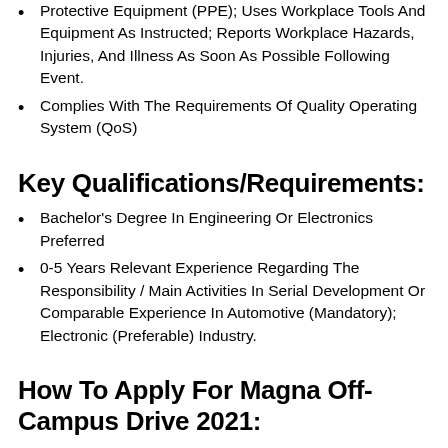Protective Equipment (PPE); Uses Workplace Tools And Equipment As Instructed; Reports Workplace Hazards, Injuries, And Illness As Soon As Possible Following Event.
Complies With The Requirements Of Quality Operating System (QoS)
Key Qualifications/Requirements:
Bachelor's Degree In Engineering Or Electronics Preferred
0-5 Years Relevant Experience Regarding The Responsibility / Main Activities In Serial Development Or Comparable Experience In Automotive (Mandatory); Electronic (Preferable) Industry.
How To Apply For Magna Off-Campus Drive 2021:
Eligible Candidates Are Advised To Open An Online Apply